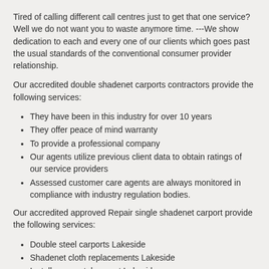Tired of calling different call centres just to get that one service? Well we do not want you to waste anymore time. ---We show dedication to each and every one of our clients which goes past the usual standards of the conventional consumer provider relationship.
Our accredited double shadenet carports contractors provide the following services:
They have been in this industry for over 10 years
They offer peace of mind warranty
To provide a professional company
Our agents utilize previous client data to obtain ratings of our service providers
Assessed customer care agents are always monitored in compliance with industry regulation bodies.
Our accredited approved Repair single shadenet carport provide the following services:
Double steel carports Lakeside
Shadenet cloth replacements Lakeside
Install new metal carport Lakeside
New shadenet carports Lakeside
Carport installations Lakeside
Repair single shadenet carport Lakeside
Carport repairs Lakeside
Single steel carports Lakeside